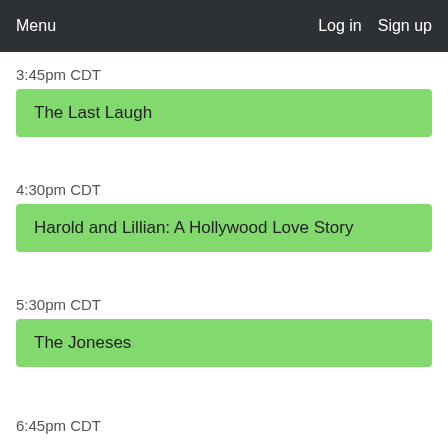Menu   Log in   Sign up
3:45pm CDT
The Last Laugh
4:30pm CDT
Harold and Lillian: A Hollywood Love Story
5:30pm CDT
The Joneses
6:45pm CDT